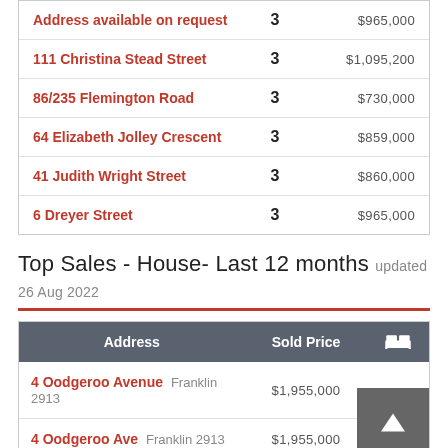| Address | Beds | Price |
| --- | --- | --- |
| Address available on request | 3 | $965,000 |
| 111 Christina Stead Street | 3 | $1,095,200 |
| 86/235 Flemington Road | 3 | $730,000 |
| 64 Elizabeth Jolley Crescent | 3 | $859,000 |
| 41 Judith Wright Street | 3 | $860,000 |
| 6 Dreyer Street | 3 | $965,000 |
Top Sales - House- Last 12 months updated 26 Aug 2022
| Address | Sold Price | Beds |
| --- | --- | --- |
| 4 Oodgeroo Avenue Franklin 2913 | $1,955,000 |  |
| 4 Oodgeroo Ave Franklin 2913 | $1,955,000 |  |